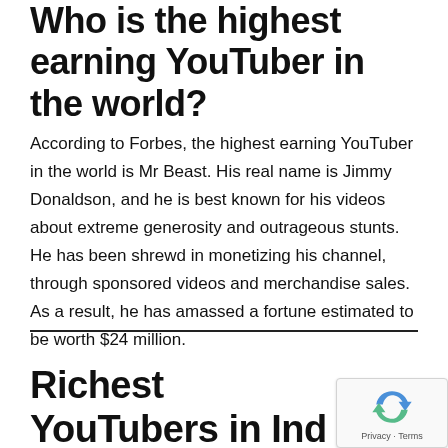Who is the highest earning YouTuber in the world?
According to Forbes, the highest earning YouTuber in the world is Mr Beast. His real name is Jimmy Donaldson, and he is best known for his videos about extreme generosity and outrageous stunts. He has been shrewd in monetizing his channel, through sponsored videos and merchandise sales. As a result, he has amassed a fortune estimated to be worth $24 million.
Richest YouTubers in India – Conclusion